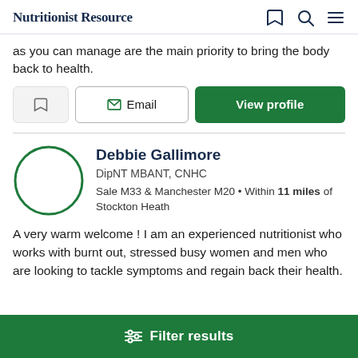Nutritionist Resource
as you can manage are the main priority to bring the body back to health.
Bookmark | Email | View profile
Debbie Gallimore
DipNT MBANT, CNHC
Sale M33 & Manchester M20 • Within 11 miles of Stockton Heath
A very warm welcome ! I am an experienced nutritionist who works with burnt out, stressed busy women and men who are looking to tackle symptoms and regain back their health.
Filter results